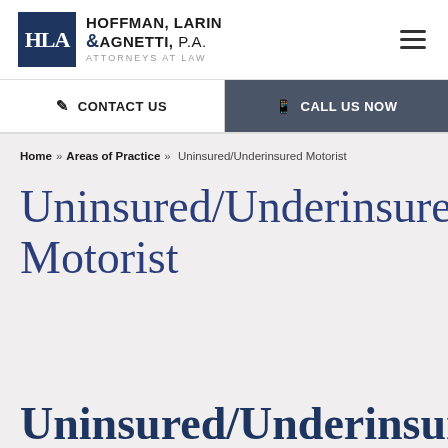[Figure (logo): Hoffman, Larin & Agnetti, P.A. law firm logo with HLA initials in dark blue box and firm name to the right]
CONTACT US | CALL US NOW
Home » Areas of Practice » Uninsured/Underinsured Motorist
Uninsured/Underinsured Motorist
Uninsured/Underinsured